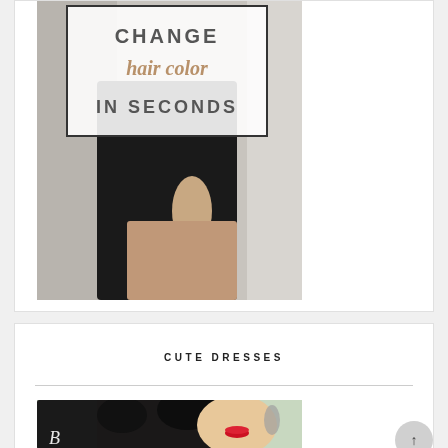[Figure (photo): Blog card image showing a person in a black outfit with an overlaid text box reading 'CHANGE hair color IN SECONDS']
[Figure (photo): Blog card for 'CUTE DRESSES' with a partially visible image of a woman with red lips, dark braided hair, and jewelry]